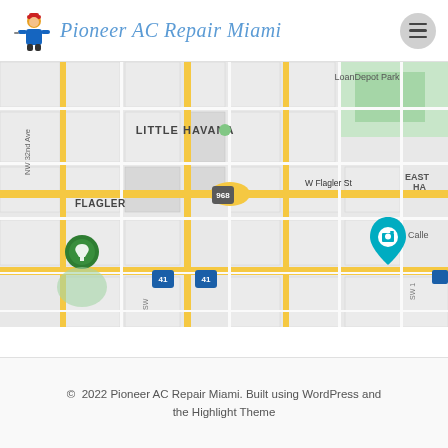Pioneer AC Repair Miami
[Figure (map): Google Maps screenshot showing Little Havana neighborhood in Miami, FL. Shows street grid with major roads including W Flagler St (route 968), SW 8th Street (route 41), NW 32nd Ave. Labels include LITTLE HAVANA, FLAGLER, EAST HA (East Havana), LoanDepot Park (top right), and Calle (bottom right). Yellow highlighted arterial roads visible. Green location pin at bottom left, teal camera icon at right. Green park area at top right.]
© 2022 Pioneer AC Repair Miami. Built using WordPress and the Highlight Theme